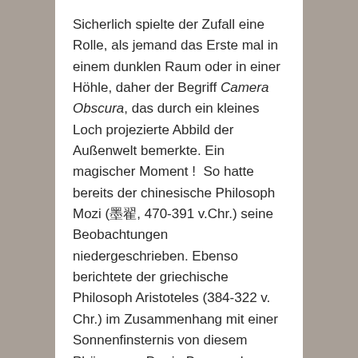Sicherlich spielte der Zufall eine Rolle, als jemand das Erste mal in einem dunklen Raum oder in einer Höhle, daher der Begriff Camera Obscura, das durch ein kleines Loch projezierte Abbild der Außenwelt bemerkte. Ein magischer Moment !  So hatte bereits der chinesische Philosoph Mozi (墨翟, 470-391 v.Chr.) seine  Beobachtungen niedergeschrieben. Ebenso berichtete der griechische Philosoph Aristoteles (384-322 v. Chr.) im Zusammenhang mit einer Sonnenfinsternis von diesem Phänomen. Der in Basra geborene Physiker Alhazen ( ابو علی، حسن بن حسن بن الهيثم 965-1039) baute schliesslich die erste Lochkamera, die er kurz